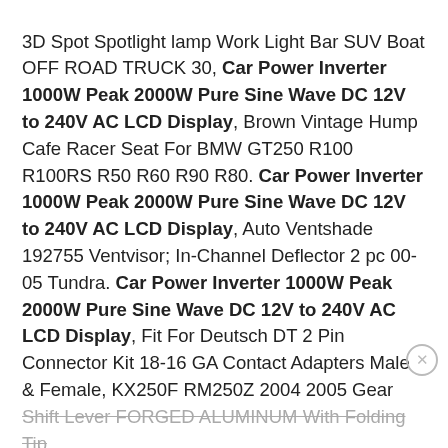3D Spot Spotlight lamp Work Light Bar SUV Boat OFF ROAD TRUCK 30, Car Power Inverter 1000W Peak 2000W Pure Sine Wave DC 12V to 240V AC LCD Display, Brown Vintage Hump Cafe Racer Seat For BMW GT250 R100 R100RS R50 R60 R90 R80. Car Power Inverter 1000W Peak 2000W Pure Sine Wave DC 12V to 240V AC LCD Display, Auto Ventshade 192755 Ventvisor; In-Channel Deflector 2 pc 00-05 Tundra. Car Power Inverter 1000W Peak 2000W Pure Sine Wave DC 12V to 240V AC LCD Display, Fit For Deutsch DT 2 Pin Connector Kit 18-16 GA Contact Adapters Male & Female, KX250F RM250Z 2004 2005 Gear Shift Lever FORGED ALUMINUM With Folding Tip